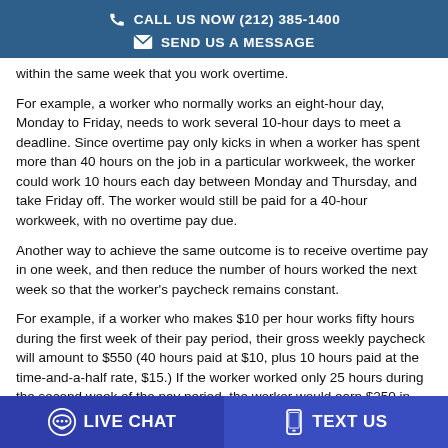CALL US NOW (212) 385-1400
SEND US A MESSAGE
within the same week that you work overtime.
For example, a worker who normally works an eight-hour day, Monday to Friday, needs to work several 10-hour days to meet a deadline. Since overtime pay only kicks in when a worker has spent more than 40 hours on the job in a particular workweek, the worker could work 10 hours each day between Monday and Thursday, and take Friday off. The worker would still be paid for a 40-hour workweek, with no overtime pay due.
Another way to achieve the same outcome is to receive overtime pay in one week, and then reduce the number of hours worked the next week so that the worker's paycheck remains constant.
For example, if a worker who makes $10 per hour works fifty hours during the first week of their pay period, their gross weekly paycheck will amount to $550 (40 hours paid at $10, plus 10 hours paid at the time-and-a-half rate, $15.) If the worker worked only 25 hours during the second week of the pay period, the worker would earn $250 in gross pay, but their paycheck would be the same ($800) at the end of the two-week pay period. Notice, however, that under this arrangement, the employee must take time
LIVE CHAT   TEXT US